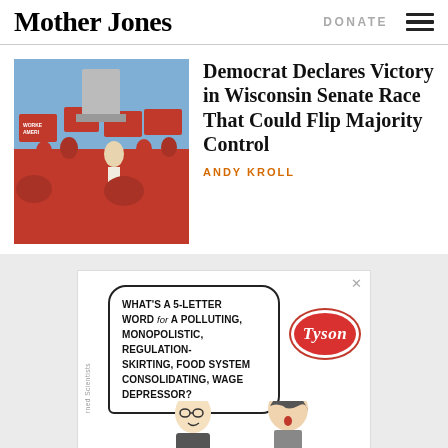Mother Jones
DONATE
[Figure (photo): Crowd of people holding red Working America campaign signs at a rally near a large stone monument.]
Democrat Declares Victory in Wisconsin Senate Race That Could Flip Majority Control
ANDY KROLL
[Figure (illustration): Advertisement featuring a cartoon crossword puzzle scene. A speech bubble reads: WHAT'S A 5-LETTER WORD for A POLLUTING, MONOPOLISTIC, REGULATION-SKIRTING, FOOD SYSTEM CONSOLIDATING, WAGE DEPRESSOR? A Tyson red oval logo appears to the right. Two cartoon characters (a man and woman) are drawn at the bottom. Side text reads 'rned Scientists'.]